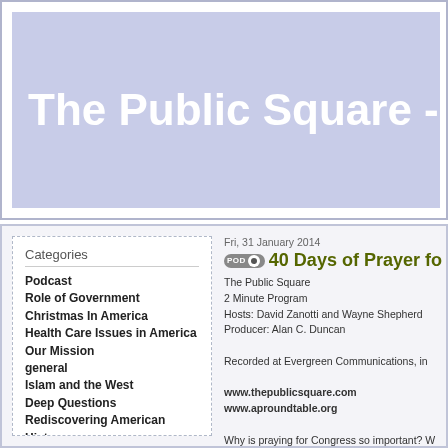The Public Square - Two M
Categories
Podcast
Role of Government
Christmas In America
Health Care Issues in America
Our Mission
general
Islam and the West
Deep Questions
Rediscovering American History
Daily
Elections
Holidays
Comedy
Gambling
Article One
Intelligent Design
Marriage
National Prayer Breakfast
Fri, 31 January 2014
40 Days of Prayer fo
The Public Square
2 Minute Program
Hosts: David Zanotti and Wayne Shepherd
Producer: Alan C. Duncan
Recorded at Evergreen Communications, in
www.thepublicsquare.com
www.aproundtable.org
Why is praying for Congress so important? W
Topic: Article One
Direct download: Jan3114.mp3
Category: Podcast -- posted at: 12:00am EDT
Thu, 30 January 2014
40 Days of Prayer fo
The Public Square
2 Minute Program
Hosts: David Zanotti and Wayne Shepherd